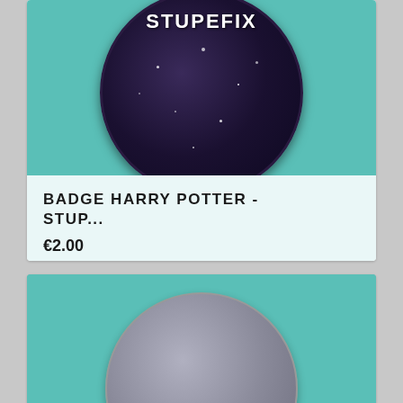[Figure (photo): Product card showing a dark purple/black Harry Potter badge pin with 'STUPEFIX' text in white on teal background, with product title 'BADGE HARRY POTTER - STUP...' and price €2.00 below]
BADGE HARRY POTTER - STUP...
€2.00
[Figure (photo): Product card showing a grey Harry Potter badge pin with 'WINGARDIUM' text visible at bottom, on teal background]